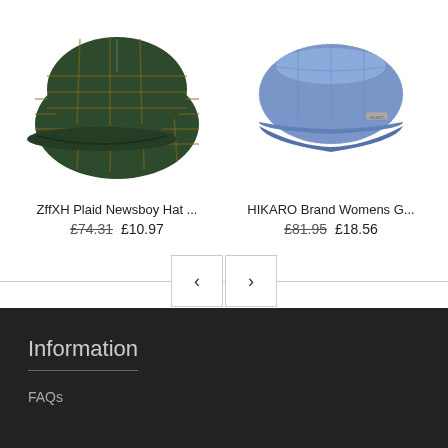[Figure (photo): Green plaid newsboy/baseball cap viewed from front, dark green with tan plaid pattern]
ZffXH Plaid Newsboy Hat ...
£74.31 £10.97
[Figure (photo): Blue denim-style captain/newsboy cap with small metal badge, heathered blue fabric]
HIKARO Brand Womens G...
£81.95 £18.56
[Figure (other): Navigation previous/next arrow buttons for product carousel]
Information
FAQs